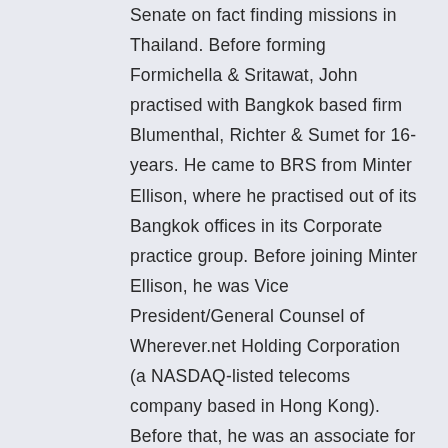Senate on fact finding missions in Thailand. Before forming Formichella & Sritawat, John practised with Bangkok based firm Blumenthal, Richter & Sumet for 16-years. He came to BRS from Minter Ellison, where he practised out of its Bangkok offices in its Corporate practice group. Before joining Minter Ellison, he was Vice President/General Counsel of Wherever.net Holding Corporation (a NASDAQ-listed telecoms company based in Hong Kong). Before that, he was an associate for East-West International Law Offices in Taipei, Taiwan, from 1996 to 1999. John graduated from the State University of New York (University at Buffalo), earning Bachelor of Arts and Master of Arts (Economics) degrees and a